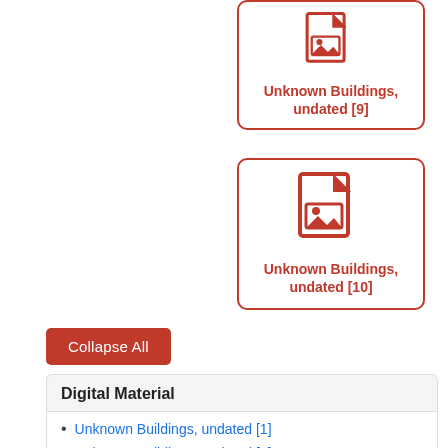[Figure (illustration): Red file/image icon inside a rounded-border card labeled 'Unknown Buildings, undated [9]']
[Figure (illustration): Red file/image icon inside a rounded-border card labeled 'Unknown Buildings, undated [10]']
Collapse All
Digital Material
Unknown Buildings, undated [1]
Unknown Buildings, undated [2]